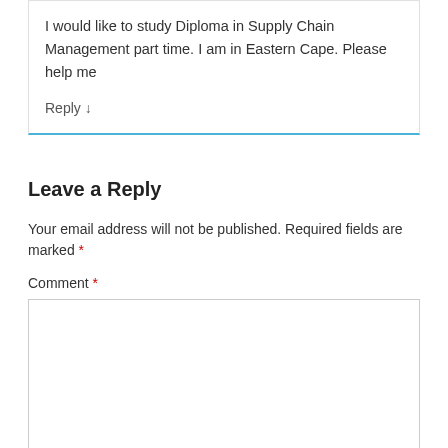I would like to study Diploma in Supply Chain Management part time. I am in Eastern Cape. Please help me
Reply ↓
Leave a Reply
Your email address will not be published. Required fields are marked *
Comment *